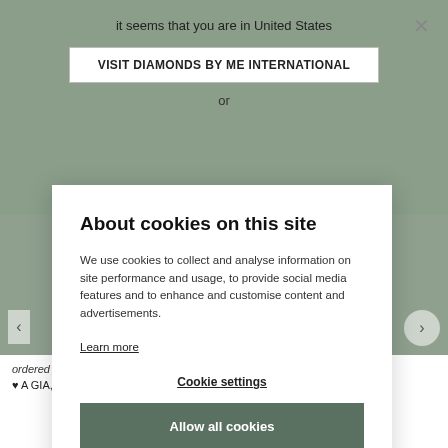it seems that you are in United States
VISIT DIAMONDS BY ME INTERNATIONAL
or
About cookies on this site
We use cookies to collect and analyse information on site performance and usage, to provide social media features and to enhance and customise content and advertisements.
Learn more
Cookie settings
Allow all cookies
ordered jewellery
♥ A GIA, HRD or IGI certificate with diamonds of 0,3 crt and